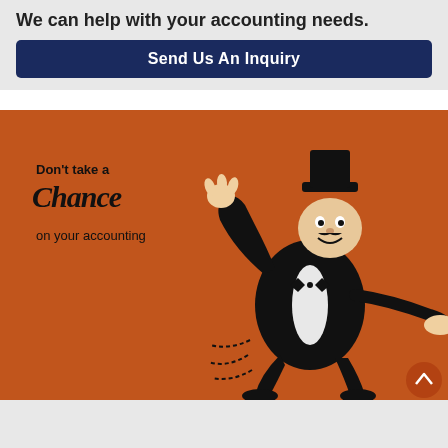We can help with your accounting needs.
Send Us An Inquiry
[Figure (illustration): Orange illustrated card showing a Monopoly-style character in top hat and tuxedo being grabbed by a hand, with text: Don't take a Chance on your accounting]